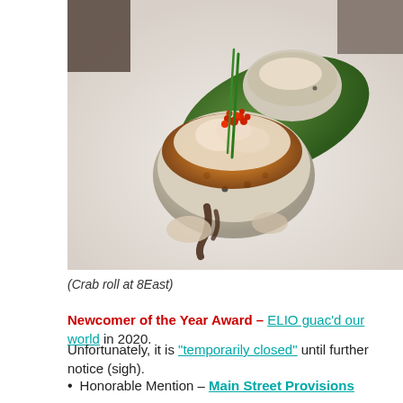[Figure (photo): Close-up photo of a crab roll dish at 8East restaurant, showing sushi roll topped with crab meat, orange sauce, red tobiko/roe, and chive garnish on a white plate with a green leaf.]
(Crab roll at 8East)
Newcomer of the Year Award – ELIO guac'd our world in 2020.
Unfortunately, it is "temporarily closed" until further notice (sigh).
Honorable Mention – Main Street Provisions